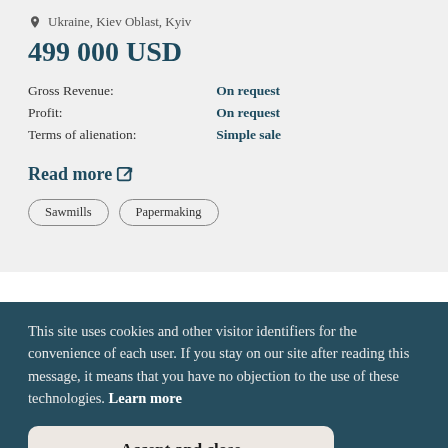Ukraine, Kiev Oblast, Kyiv
499 000 USD
Gross Revenue: On request
Profit: On request
Terms of alienation: Simple sale
Read more
Sawmills
Papermaking
This site uses cookies and other visitor identifiers for the convenience of each user. If you stay on our site after reading this message, it means that you have no objection to the use of these technologies. Learn more
Accept and close